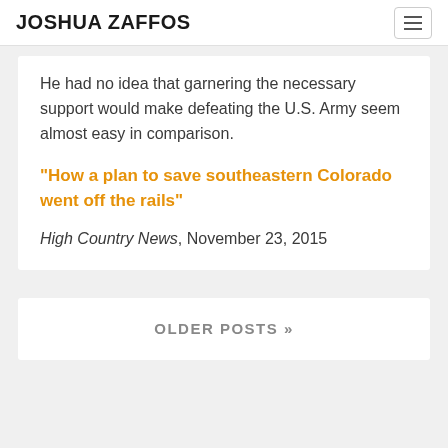JOSHUA ZAFFOS
He had no idea that garnering the necessary support would make defeating the U.S. Army seem almost easy in comparison.
“How a plan to save southeastern Colorado went off the rails”
High Country News, November 23, 2015
OLDER POSTS »